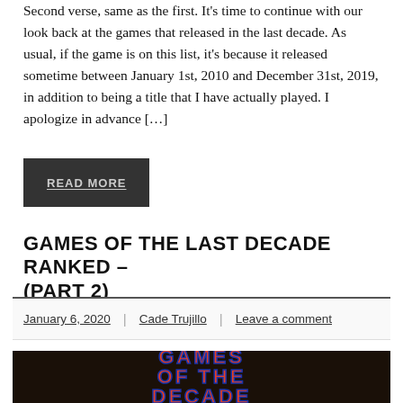Second verse, same as the first. It's time to continue with our look back at the games that released in the last decade. As usual, if the game is on this list, it's because it released sometime between January 1st, 2010 and December 31st, 2019, in addition to being a title that I have actually played. I apologize in advance […]
READ MORE
GAMES OF THE LAST DECADE RANKED – (PART 2)
January 6, 2020 | Cade Trujillo | Leave a comment
[Figure (photo): Decorative image showing stylized text 'GAMES OF THE DECADE' in large red letters with blue outline on a dark background]